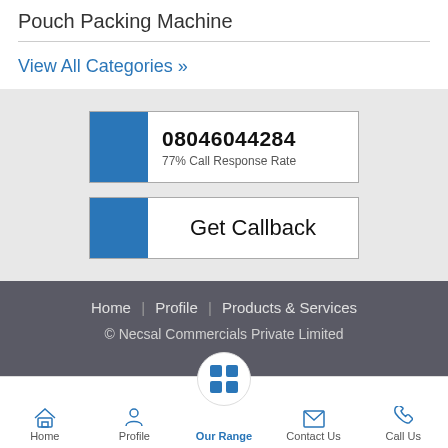Pouch Packing Machine
View All Categories »
[Figure (infographic): Phone number box with blue block and number 08046044284 with 77% Call Response Rate]
[Figure (infographic): Get Callback button with blue block on left]
Home | Profile | Products & Services
© Necsal Commercials Private Limited
[Figure (other): Bottom navigation bar with Home, Profile, Our Range, Contact Us, Call Us icons]